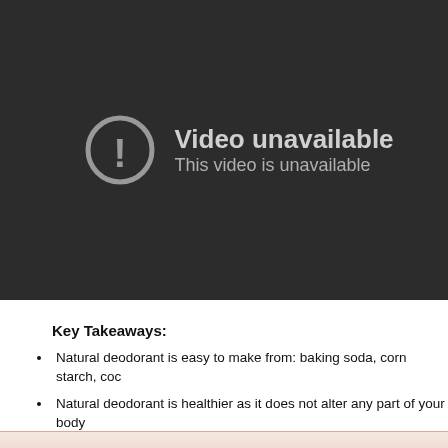[Figure (screenshot): Video unavailable placeholder screen with dark background, circular exclamation icon, and text 'Video unavailable / This video is unavailable']
Key Takeaways:
Natural deodorant is easy to make from: baking soda, corn starch, coc
Natural deodorant is healthier as it does not alter any part of your body
Baking soda has long since been used to absorb odors.